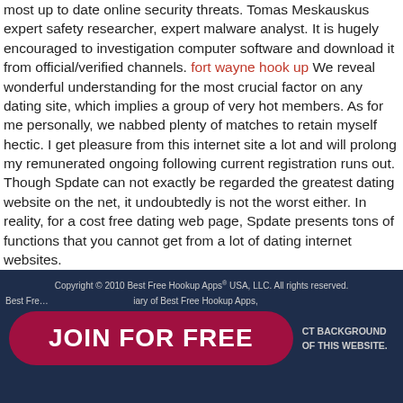most up to date online security threats. Tomas Meskauskus expert safety researcher, expert malware analyst. It is hugely encouraged to investigation computer software and download it from official/verified channels. fort wayne hook up We reveal wonderful understanding for the most crucial factor on any dating site, which implies a group of very hot members. As for me personally, we nabbed plenty of matches to retain myself hectic. I get pleasure from this internet site a lot and will prolong my remunerated ongoing following current registration runs out. Though Spdate can not exactly be regarded the greatest dating website on the net, it undoubtedly is not the worst either. In reality, for a cost free dating web page, Spdate presents tons of functions that you cannot get from a lot of dating internet websites.
Copyright © 2010 Best Free Hookup Apps® USA, LLC. All rights reserved. Best Free Hookup Apps is a subsidiary of Best Free Hookup Apps, JOIN FOR FREE CT BACKGROUND OF THIS WEBSITE.